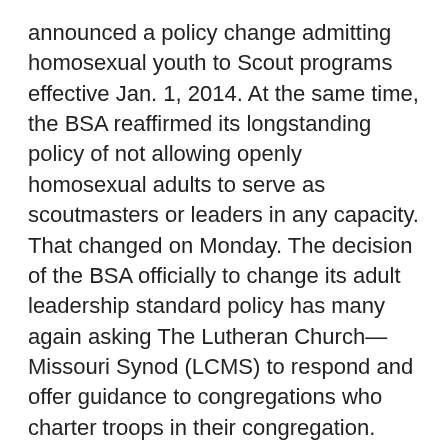announced a policy change admitting homosexual youth to Scout programs effective Jan. 1, 2014. At the same time, the BSA reaffirmed its longstanding policy of not allowing openly homosexual adults to serve as scoutmasters or leaders in any capacity. That changed on Monday. The decision of the BSA officially to change its adult leadership standard policy has many again asking The Lutheran Church—Missouri Synod (LCMS) to respond and offer guidance to congregations who charter troops in their congregation.
Last month, on June 2, 2015, via conference call, Chief Scout Executive Mr. Wayne Brock spoke with LCMS President Rev. Dr. Matthew C. Harrison and the Rev. Bart Day, executive director of the LCMS Office of National Mission.